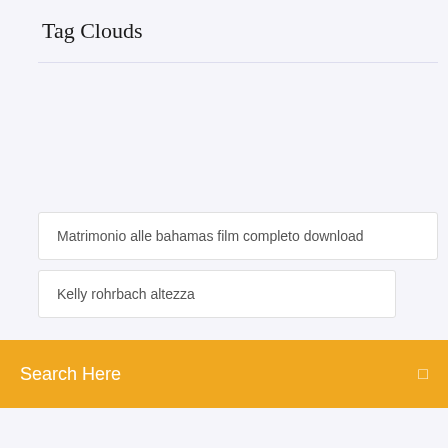Tag Clouds
Matrimonio alle bahamas film completo download
Kelly rohrbach altezza
Search Here
Affairs of state intrighi di stato cast
Fratello sole sorella luna film completo italiano
Marvel one shot streaming sub ita
Scaricare video da instagram con iphone